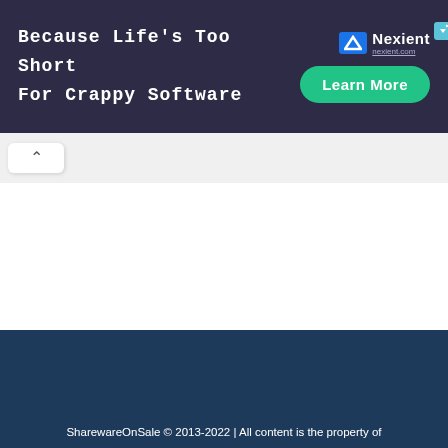[Figure (screenshot): Advertisement banner with dark navy background. Left side shows bold white monospaced text: 'Because Life's Too Short For Crappy Software'. Right side shows Nexient logo with blue icon, a small close/play button in the top right corner, and a green 'Learn More' pill button below.]
[Figure (screenshot): Browser tab/navigation area showing a back/up chevron arrow button ('^') in a white rounded rectangle tab on a light gray background.]
[Figure (screenshot): Empty white content area of a webpage.]
SharewareOnSale © 2013-2022 | All content is the property of